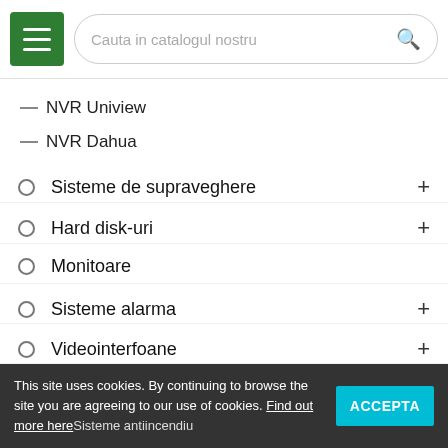[Figure (screenshot): Website navigation menu screenshot with search bar, hamburger menu button, category list items, and cookie consent banner]
Cauta in catalogul nostru
NVR Uniview
NVR Dahua
Sisteme de supraveghere +
Hard disk-uri +
Monitoare
Sisteme alarma +
Videointerfoane +
Accesorii montaj +
Securitate mecanica +
Automatizari porti +
Controracces
Sisteme antiincendiu
This site uses cookies. By continuing to browse the site you are agreeing to our use of cookies. Find out more here
ACCEPTA